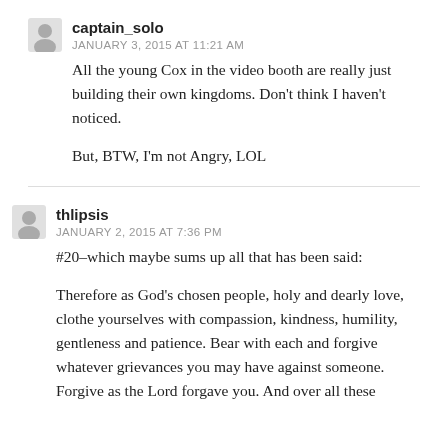captain_solo
JANUARY 3, 2015 AT 11:21 AM
All the young Cox in the video booth are really just building their own kingdoms. Don't think I haven't noticed.

But, BTW, I'm not Angry, LOL
thlipsis
JANUARY 2, 2015 AT 7:36 PM
#20–which maybe sums up all that has been said:

Therefore as God's chosen people, holy and dearly love, clothe yourselves with compassion, kindness, humility, gentleness and patience. Bear with each and forgive whatever grievances you may have against someone. Forgive as the Lord forgave you. And over all these